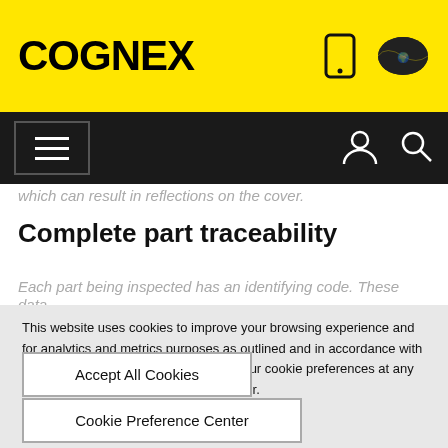COGNEX
[Figure (screenshot): Cognex yellow header bar with COGNEX logo in bold black text, phone icon and world map icon on the right]
[Figure (screenshot): Black navigation bar with hamburger menu button on left, user account icon and search icon on right]
which can result in reflections on the cover.
Complete part traceability
Each part being inspected has an identifying code. These data
This website uses cookies to improve your browsing experience and for analytics and metrics purposes as outlined and in accordance with our Privacy Policy . You may change your cookie preferences at any time using the Cookie Preference Center.
Accept All Cookies
Cookie Preference Center